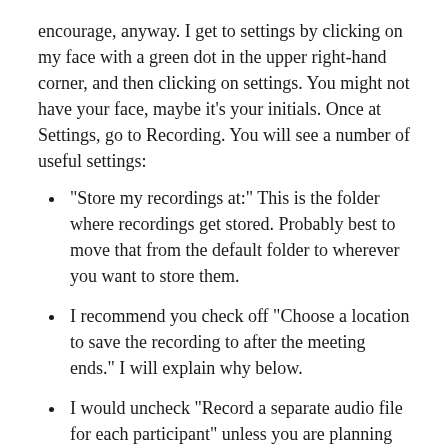encourage, anyway. I get to settings by clicking on my face with a green dot in the upper right-hand corner, and then clicking on settings. You might not have your face, maybe it’s your initials. Once at Settings, go to Recording. You will see a number of useful settings:
“Store my recordings at:” This is the folder where recordings get stored. Probably best to move that from the default folder to wherever you want to store them.
I recommend you check off “Choose a location to save the recording to after the meeting ends.” I will explain why below.
I would uncheck “Record a separate audio file for each participant” unless you are planning to do a lot of fancy editing.
Check “optimize for a 3rd party video editor,” so that Zoom will convert to a standard format rather than their